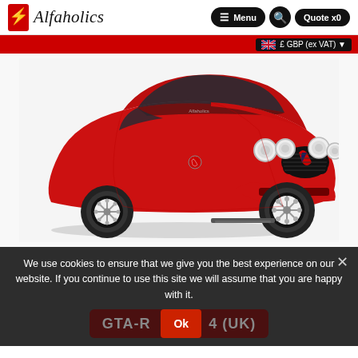Alfaholics — Menu | Search | Quote x0
£ GBP (ex VAT)
[Figure (photo): Red classic Alfa Romeo GTA-style coupe sports car photographed on white background, three-quarter front view showing the iconic Alfa Romeo grille, round headlights, and alloy wheels.]
We use cookies to ensure that we give you the best experience on our website. If you continue to use this site we will assume that you are happy with it.
GTA-R  4 (UK)
Ok